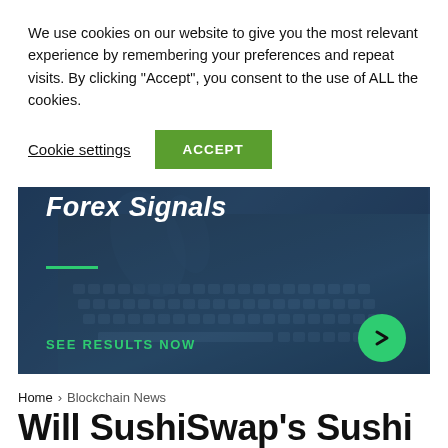We use cookies on our website to give you the most relevant experience by remembering your preferences and repeat visits. By clicking "Accept", you consent to the use of ALL the cookies.
Cookie settings | ACCEPT
[Figure (screenshot): Dark blue advertisement banner for Forex Signals with a laptop keyboard background image, a green horizontal line, 'SEE RESULTS NOW' text in green, and a green circular arrow button]
Home > Blockchain News
Will SushiSwap's Sushi Token Endure a Second Value Drop